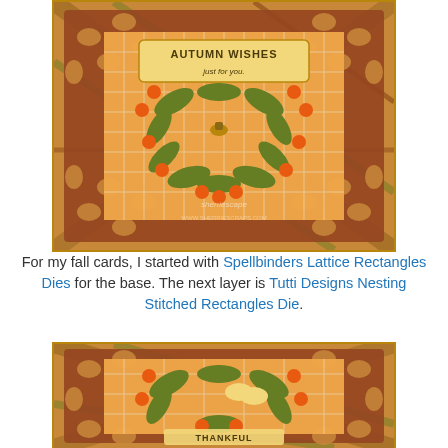[Figure (photo): Close-up photo of a handmade autumn greeting card featuring a Spellbinders Lattice Rectangle die cut in rust/brown, layered over orange plaid paper, with a green leaf wreath, orange berry embellishments, and a stamped label reading 'AUTUMN WISHES just for you.']
For my fall cards, I started with Spellbinders Lattice Rectangles Dies for the base. The next layer is Tutti Designs Nesting Stitched Rectangles Die.
[Figure (photo): Close-up photo of a second handmade fall card with similar construction — rust lattice die cut, orange plaid paper, green leaves, orange berry sequins, and partial text reading 'THANKFUL' at the bottom.]